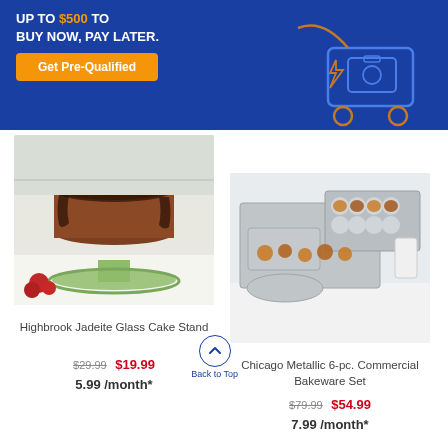[Figure (infographic): Blue promotional banner with text 'UP TO $500 TO BUY NOW, PAY LATER.' and orange 'Get Pre-Qualified' button, with shopping cart line art illustration on the right.]
[Figure (photo): Highbrook Jadeite Glass Cake Stand with a chocolate layer cake on a mint green pedestal cake stand, with raspberries in foreground.]
Highbrook Jadeite Glass Cake Stand
$29.99  $19.99
5.99 /month*
[Figure (photo): Chicago Metallic 6-pc. Commercial Bakeware Set showing multiple silver baking pans with cookies and pastries on a white surface.]
Chicago Metallic 6-pc. Commercial Bakeware Set
$79.99  $54.99
7.99 /month*